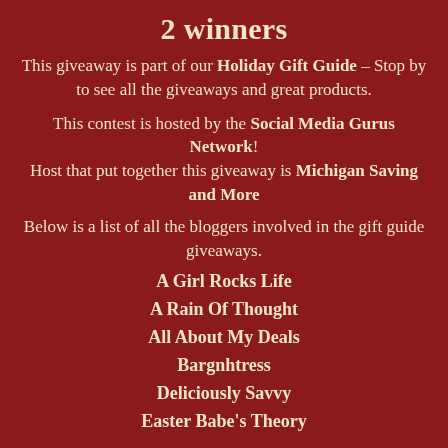2 winners
This giveaway is part of our Holiday Gift Guide – Stop by to see all the giveaways and great products.
This contest is hosted by the Social Media Gurus Network! Host that put together this giveaway is Michigan Saving and More
Below is a list of all the bloggers involved in the gift guide giveaways.
A Girl Rocks Life
A Rain Of Thought
All About My Deals
Bargnhtress
Deliciously Savvy
Easter Babe's Theory